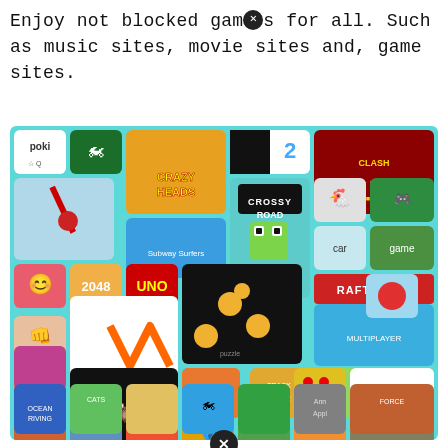Enjoy not blocked games for all. Such as music sites, movie sites and, game sites.
[Figure (screenshot): Screenshot of a gaming website (Poki) showing a grid of colorful game icons including Crossy Road, Raft Wars Multiplayer, 2048, UNO, and many other mobile/browser games on a teal/cyan background. A close/block button (X in a black circle) appears at the bottom center.]